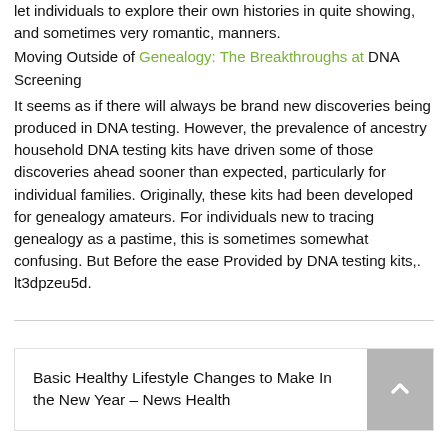let individuals to explore their own histories in quite showing, and sometimes very romantic, manners.
Moving Outside of Genealogy: The Breakthroughs at DNA Screening
It seems as if there will always be brand new discoveries being produced in DNA testing. However, the prevalence of ancestry household DNA testing kits have driven some of those discoveries ahead sooner than expected, particularly for individual families. Originally, these kits had been developed for genealogy amateurs. For individuals new to tracing genealogy as a pastime, this is sometimes somewhat confusing. But Before the ease Provided by DNA testing kits,. lt3dpzeu5d.
Basic Healthy Lifestyle Changes to Make In the New Year – News Health